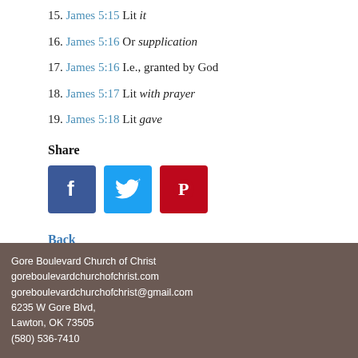15. James 5:15 Lit it
16. James 5:16 Or supplication
17. James 5:16 I.e., granted by God
18. James 5:17 Lit with prayer
19. James 5:18 Lit gave
Share
[Figure (infographic): Social share buttons: Facebook, Twitter, Pinterest]
Back
Gore Boulevard Church of Christ
goreboulevardchurchofchrist.com
goreboulevardchurchofchrist@gmail.com
6235 W Gore Blvd,
Lawton, OK 73505
(580) 536-7410